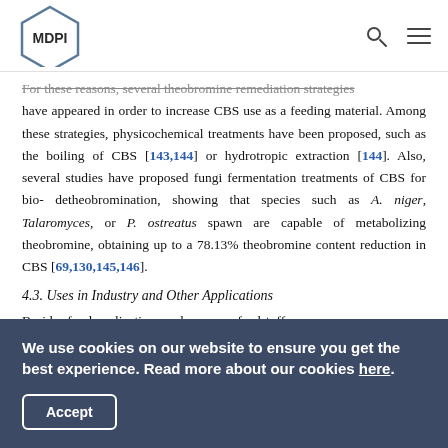MDPI
For these reasons, several theobromine remediation strategies have appeared in order to increase CBS use as a feeding material. Among these strategies, physicochemical treatments have been proposed, such as the boiling of CBS [143,144] or hydrotropic extraction [144]. Also, several studies have proposed fungi fermentation treatments of CBS for bio-detheobromination, showing that species such as A. niger, Talaromyces, or P. ostreatus spawn are capable of metabolizing theobromine, obtaining up to a 78.13% theobromine content reduction in CBS [69,130,145,146].
4.3. Uses in Industry and Other Applications
Besides food applications and uses as a feedstuff
We use cookies on our website to ensure you get the best experience. Read more about our cookies here.
Accept